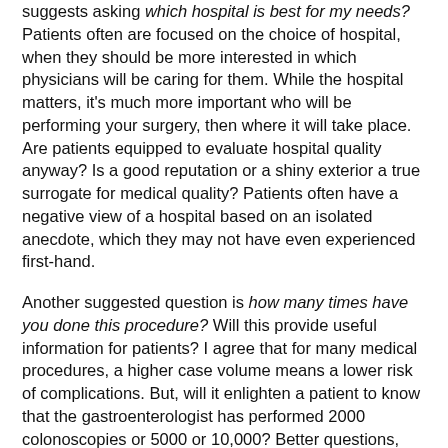suggests asking which hospital is best for my needs? Patients often are focused on the choice of hospital, when they should be more interested in which physicians will be caring for them. While the hospital matters, it's much more important who will be performing your surgery, then where it will take place. Are patients equipped to evaluate hospital quality anyway? Is a good reputation or a shiny exterior a true surrogate for medical quality? Patients often have a negative view of a hospital based on an isolated anecdote, which they may not have even experienced first-hand.
Another suggested question is how many times have you done this procedure? Will this provide useful information for patients? I agree that for many medical procedures, a higher case volume means a lower risk of complications. But, will it enlighten a patient to know that the gastroenterologist has performed 2000 colonoscopies or 5000 or 10,000? Better questions, which can't be quantitatively answered, would be how many times have you done this procedure well, or, how many of your procedures were truly medically necessary? I object to Shots' version of the 'how many' question which simplistically reduces medically quality measurement to a